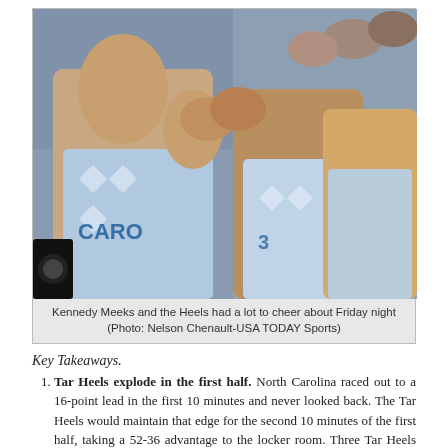[Figure (photo): Basketball players in North Carolina Tar Heels uniforms celebrating, clapping hands together on court]
Kennedy Meeks and the Heels had a lot to cheer about Friday night (Photo: Nelson Chenault-USA TODAY Sports)
Key Takeaways.
Tar Heels explode in the first half. North Carolina raced out to a 16-point lead in the first 10 minutes and never looked back. The Tar Heels would maintain that edge for the second 10 minutes of the first half, taking a 52-36 advantage to the locker room. Three Tar Heels scored in double figures – Justin Jackson with 17 points, Luke Maye with 14, Joel Berry with 10 – in a quintessential display of Carolina offense. They played fast (43 possessions), made three-point shots (8-of-17 from long-range), and exploited their size advantage inside in outrebounding Butler by 11. UCLA and Kansas each boast offenses as good, if not better, than that of North Carolina, but neither possess the inside-outside balance of the Heels. The first 20 minutes of this game